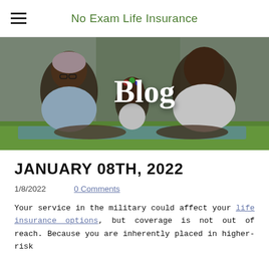No Exam Life Insurance
[Figure (photo): Family of three (mother, father, young daughter) lying on grass in front of a tent, smiling. The word 'Blog' is overlaid in white bold serif text.]
JANUARY 08TH, 2022
1/8/2022   0 Comments
Your service in the military could affect your life insurance options, but coverage is not out of reach. Because you are inherently placed in higher-risk